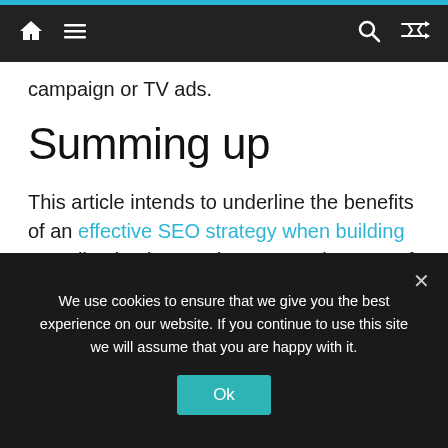Navigation bar with home, menu, search, and shuffle icons
campaign or TV ads.
Summing up
This article intends to underline the benefits of an effective SEO strategy when building an online business. These are only some of the many reasons why SEO is essential and should be considered for most businesses.
A great benefit of having a website is that the
We use cookies to ensure that we give you the best experience on our website. If you continue to use this site we will assume that you are happy with it.